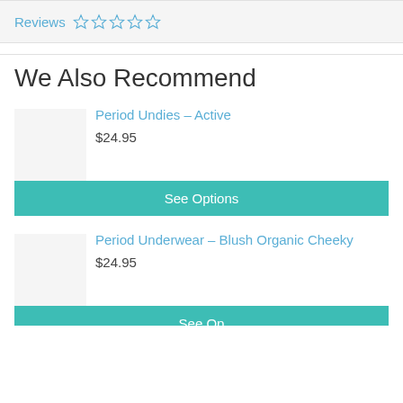Reviews ☆☆☆☆☆
We Also Recommend
Period Undies – Active
$24.95
See Options
Period Underwear – Blush Organic Cheeky
$24.95
See Options